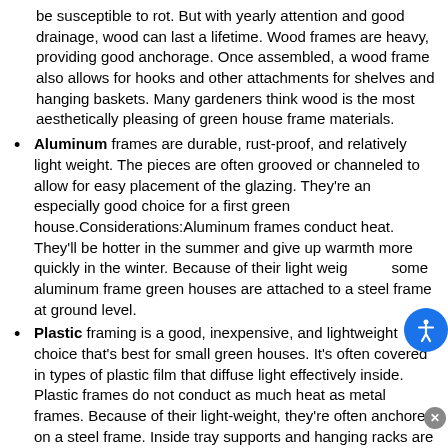be susceptible to rot. But with yearly attention and good drainage, wood can last a lifetime. Wood frames are heavy, providing good anchorage. Once assembled, a wood frame also allows for hooks and other attachments for shelves and hanging baskets. Many gardeners think wood is the most aesthetically pleasing of green house frame materials.
Aluminum frames are durable, rust-proof, and relatively light weight. The pieces are often grooved or channeled to allow for easy placement of the glazing. They're an especially good choice for a first green house.Considerations:Aluminum frames conduct heat. They'll be hotter in the summer and give up warmth more quickly in the winter. Because of their light weight, some aluminum frame green houses are attached to a steel frame at ground level.
Plastic framing is a good, inexpensive, and lightweight choice that's best for small green houses. It's often covered in types of plastic film that diffuse light effectively inside. Plastic frames do not conduct as much heat as metal frames. Because of their light-weight, they're often anchored on a steel frame. Inside tray supports and hanging racks are often steel-reinforced to increase the weight they can support.
Steel is the heaviest of green house frame materials and is most frequently used for large, permanent, commercial structures. Because of its weight and difficulty...